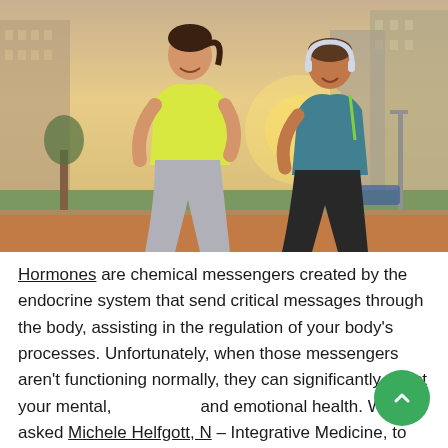[Figure (photo): Two people jogging outdoors in an urban setting. A woman in a yellow top and grey leggings and a man in a teal sleeveless top with headphones around his neck, both smiling, running on a path with apartment buildings in the background.]
Hormones are chemical messengers created by the endocrine system that send critical messages through the body, assisting in the regulation of your body's processes. Unfortunately, when those messengers aren't functioning normally, they can significantly affect your mental, and emotional health. We asked Michele Helfgott, N – Integrative Medicine, to elaborate on what a hormone